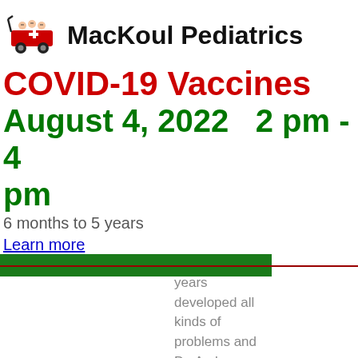[Figure (logo): MacKoul Pediatrics logo: red wagon with children figures]
MacKoul Pediatrics
COVID-19 Vaccines
August 4, 2022   2 pm - 4 pm
6 months to 5 years
Learn more
years developed all kinds of problems and Dr. Amber went above and beyond